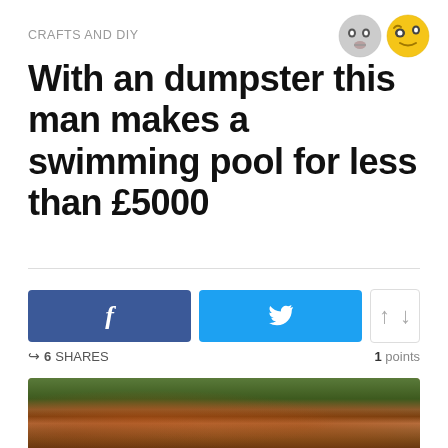CRAFTS AND DIY
With an dumpster this man makes a swimming pool for less than £5000
[Figure (other): Two emoji faces: a neutral gray face and a thinking yellow face with eyes sideways]
[Figure (photo): Photo of a large rusty metal dumpster/skip outdoors surrounded by green trees]
6 SHARES
1 points